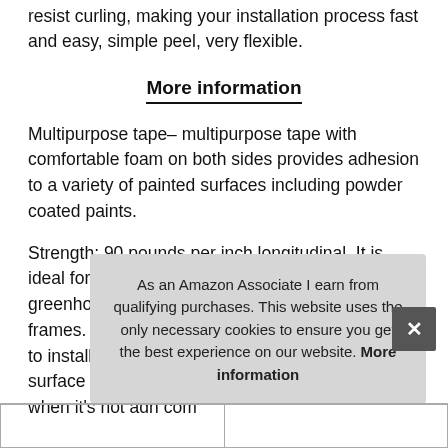resist curling, making your installation process fast and easy, simple peel, very flexible.
More information
Multipurpose tape– multipurpose tape with comfortable foam on both sides provides adhesion to a variety of painted surfaces including powder coated paints.
Strength: 90 pounds per inch longitudinal. It is ideal for mounting large and heavy tools, greenhouse tarp, 16ft length, posters and picture frames. Easy installation– this foam tape is easy to install, just peel off the tape and stick it to the surface of the obiect. And it is easy to repositioned when it's not adh com
As an Amazon Associate I earn from qualifying purchases. This website uses the only necessary cookies to ensure you get the best experience on our website. More information
|  |  |